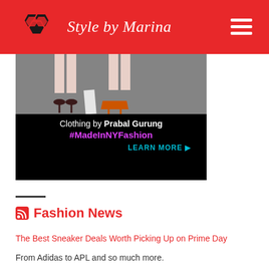Style by Marina
[Figure (photo): Advertisement banner for Prabal Gurung clothing with #MadeInNYFashion. Shows legs/feet in heels on pavement with text overlay on black background including 'Clothing by Prabal Gurung', '#MadeInNYFashion', and 'LEARN MORE' link.]
Fashion News
The Best Sneaker Deals Worth Picking Up on Prime Day
From Adidas to APL and so much more.